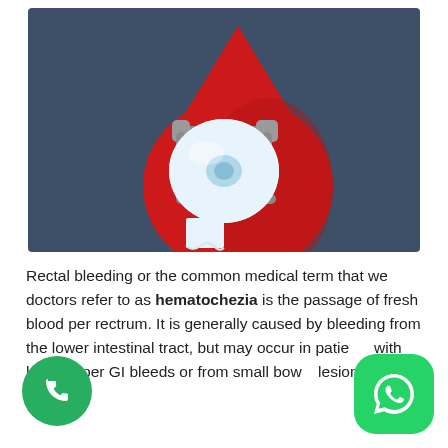[Figure (illustration): Medical illustration showing a large red blood drop shape on a dark navy/slate blue background, with a toilet paper roll (white and light blue) on a gray holder in the center of the blood drop.]
Rectal bleeding or the common medical term that we doctors refer to as hematochezia is the passage of fresh blood per rectrum. It is generally caused by bleeding from the lower intestinal tract, but may occur in patients with large upper GI bleeds or from small bowel lesions.